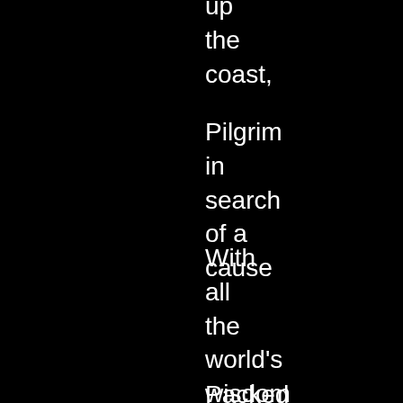up
the
coast,
Pilgrim
in
search
of a
cause
With
all
the
world's
wisdom
Packed
on
the
roof-
rack
of
an
ancient
Kombi
van